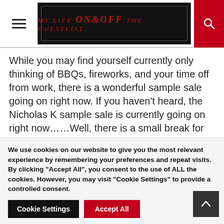My Life On & Off The Guestlist
While you may find yourself currently only thinking of BBQs, fireworks, and your time off from work, there is a wonderful sample sale going on right now. If you haven't heard, the Nicholas K sample sale is currently going on right now……Well, there is a small break for the holiday from July 3rd through July 8th, but the sale picks up again on July 9th and goes until the end of the month. If you've read our New York Fashion Week
We use cookies on our website to give you the most relevant experience by remembering your preferences and repeat visits. By clicking "Accept All", you consent to the use of ALL the cookies. However, you may visit "Cookie Settings" to provide a controlled consent.